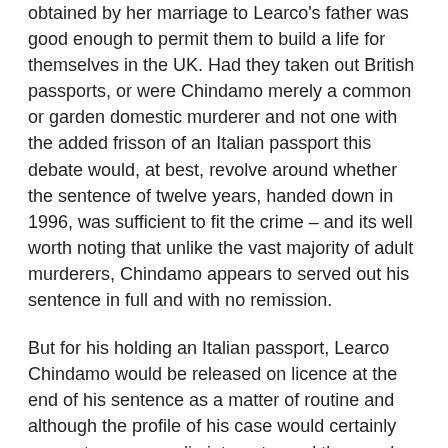obtained by her marriage to Learco's father was good enough to permit them to build a life for themselves in the UK. Had they taken out British passports, or were Chindamo merely a common or garden domestic murderer and not one with the added frisson of an Italian passport this debate would, at best, revolve around whether the sentence of twelve years, handed down in 1996, was sufficient to fit the crime – and its well worth noting that unlike the vast majority of adult murderers, Chindamo appears to served out his sentence in full and with no remission.
But for his holding an Italian passport, Learco Chindamo would be released on licence at the end of his sentence as a matter of routine and although the profile of his case would certainly generate some media interest – and the usual bleating from the press about how sentences for murder aren't long enough – such interest would be short-lived and, no doubt, curtailed by court-imposed restrictions designed to give the young man the best possible chance of putting his crime behind him and rebuilding a life as a useful, and reformed, member of society. Rehabilitation is,